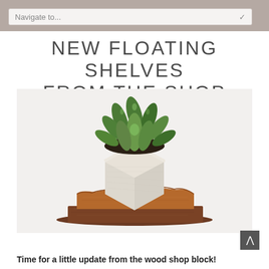Navigate to...
NEW FLOATING SHELVES FROM THE SHOP
[Figure (photo): A white hexagonal concrete planter with a succulent plant on top, sitting on a rustic wooden floating shelf against a white background.]
Time for a little update from the wood shop block!